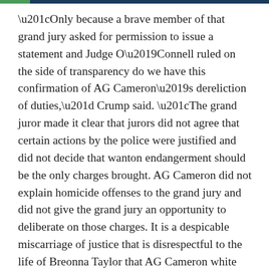“Only because a brave member of that grand jury asked for permission to issue a statement and Judge O’Connell ruled on the side of transparency do we have this confirmation of AG Cameron’s dereliction of duties,” Crump said. “The grand juror made it clear that jurors did not agree that certain actions by the police were justified and did not decide that wanton endangerment should be the only charges brought. AG Cameron did not explain homicide offenses to the grand jury and did not give the grand jury an opportunity to deliberate on those charges. It is a despicable miscarriage of justice that is disrespectful to the life of Breonna Taylor that AG Cameron white washed what his office presented to the grand jury.”
Crump urged the appointment of a new